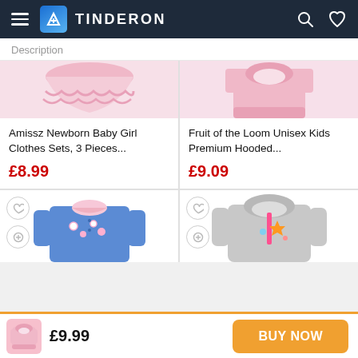TINDERON
Description
[Figure (photo): Pink ruffled baby girl clothing item, cropped top portion visible]
[Figure (photo): Pink hooded sweatshirt, cropped top portion visible]
Amissz Newborn Baby Girl Clothes Sets, 3 Pieces...
Fruit of the Loom Unisex Kids Premium Hooded...
£8.99
£9.09
[Figure (photo): Blue denim floral jacket for girls, partial view]
[Figure (photo): Grey patterned kids zip-up hoodie with star patches, partial view]
£9.99  BUY NOW